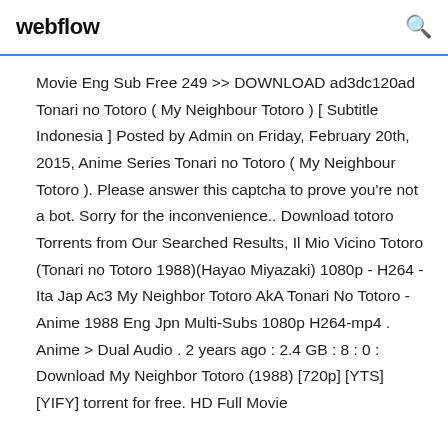webflow
Movie Eng Sub Free 249 >> DOWNLOAD ad3dc120ad Tonari no Totoro ( My Neighbour Totoro ) [ Subtitle Indonesia ] Posted by Admin on Friday, February 20th, 2015, Anime Series Tonari no Totoro ( My Neighbour Totoro ). Please answer this captcha to prove you're not a bot. Sorry for the inconvenience.. Download totoro Torrents from Our Searched Results, Il Mio Vicino Totoro (Tonari no Totoro 1988)(Hayao Miyazaki) 1080p - H264 - Ita Jap Ac3 My Neighbor Totoro AkA Tonari No Totoro - Anime 1988 Eng Jpn Multi-Subs 1080p H264-mp4 . Anime > Dual Audio . 2 years ago : 2.4 GB : 8 : 0 : Download My Neighbor Totoro (1988) [720p] [YTS] [YIFY] torrent for free. HD Full Movie